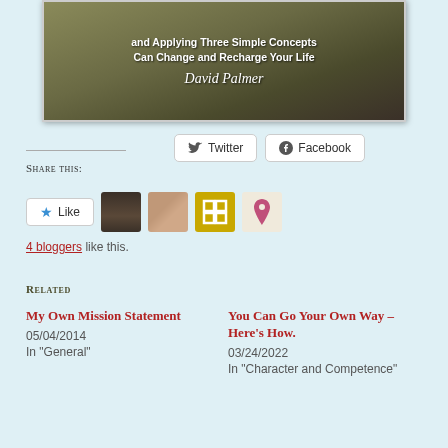[Figure (illustration): Book cover image showing rocky landscape with text 'and Applying Three Simple Concepts Can Change and Recharge Your Life' and author name 'David Palmer' in white text over a dark rocky background.]
Share this:
Twitter  Facebook
Like
4 bloggers like this.
Related
My Own Mission Statement
05/04/2014
In "General"
You Can Go Your Own Way – Here's How.
03/24/2022
In "Character and Competence"